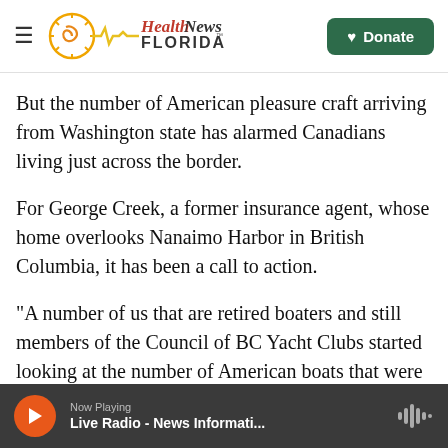Health News Florida — Donate
But the number of American pleasure craft arriving from Washington state has alarmed Canadians living just across the border.
For George Creek, a former insurance agent, whose home overlooks Nanaimo Harbor in British Columbia, it has been a call to action.
"A number of us that are retired boaters and still members of the Council of BC Yacht Clubs started looking at the number of American boats that were crossing our border, in spite of the prohibition by the federal government," says Creek, president of BC
Now Playing — Live Radio - News Informati...